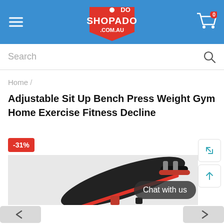SHOPADO .COM.AU
Search
Home /
Adjustable Sit Up Bench Press Weight Gym Home Exercise Fitness Decline
[Figure (photo): Product photo of an adjustable sit up bench with red and black padded surface and roller holders, shown at an angle. A -31% discount badge is shown in the top-left corner. A 'Chat with us' button overlay is visible.]